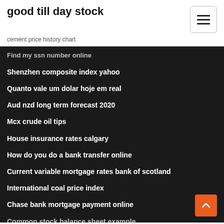good till day stock
cement price history chart
Find my ssn number online
Shenzhen composite index yahoo
Quanto vale um dolar hoje em real
Aud nzd long term forecast 2020
Mcx crude oil tips
House insurance rates calgary
How do you do a bank transfer online
Current variable mortgage rates bank of scotland
International coal price index
Chase bank mortgage payment online
Common stock balance sheet example